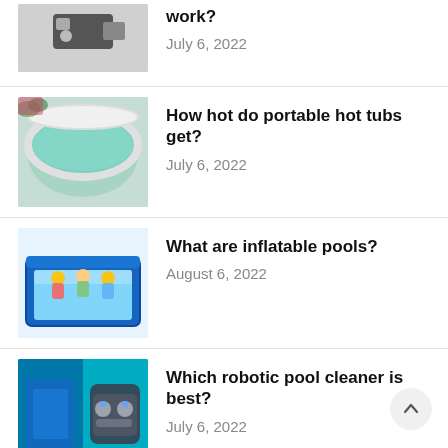[Figure (photo): Partial view of a USB drive or small electronic device, cropped at top]
work?
July 6, 2022
[Figure (photo): Circular inflatable portable hot tub filled with blue-green water]
How hot do portable hot tubs get?
July 6, 2022
[Figure (photo): Blue rectangular inflatable pool with people inside]
What are inflatable pools?
August 6, 2022
[Figure (photo): Collage of robotic pool cleaner images on teal/blue background]
Which robotic pool cleaner is best?
July 6, 2022
[Figure (photo): Person sitting inside a portable infrared sauna tent]
What temp should infrared sauna be?
July 6, 2022